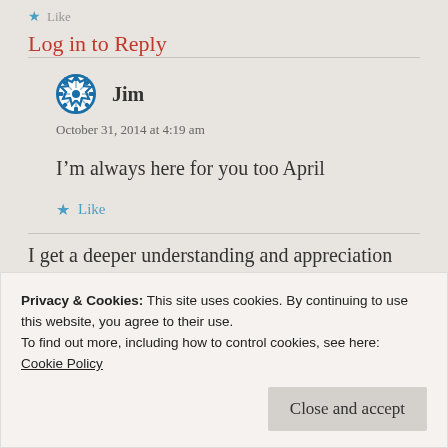Like
Log in to Reply
Jim
October 31, 2014 at 4:19 am
I’m always here for you too April
Like
Privacy & Cookies: This site uses cookies. By continuing to use this website, you agree to their use.
To find out more, including how to control cookies, see here: Cookie Policy
Close and accept
I get a deeper understanding and appreciation